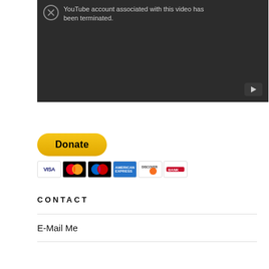[Figure (screenshot): YouTube video embed showing an error: the YouTube account associated with this video has been terminated. Dark background with YouTube play button icon in bottom right.]
[Figure (other): PayPal Donate button with accepted payment card logos: VISA, Mastercard, Maestro, American Express, Discover, and another card.]
CONTACT
E-Mail Me